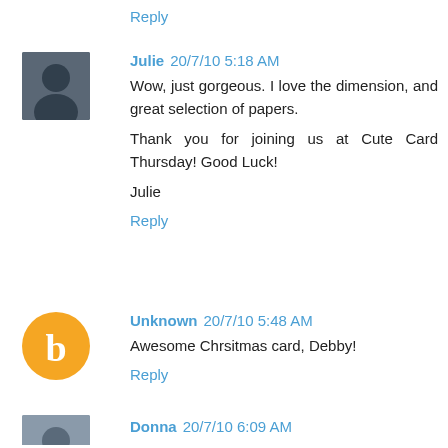Reply
Julie 20/7/10 5:18 AM
Wow, just gorgeous. I love the dimension, and great selection of papers.

Thank you for joining us at Cute Card Thursday! Good Luck!

Julie
Reply
Unknown 20/7/10 5:48 AM
Awesome Chrsitmas card, Debby!
Reply
Donna 20/7/10 6:09 AM